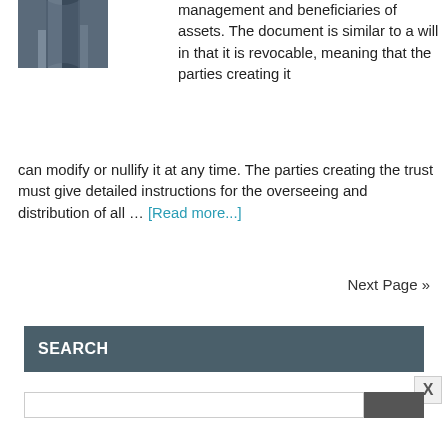[Figure (photo): Partial photo of a person wearing jeans, cropped to show lower torso/legs area, dark blue denim]
management and beneficiaries of assets. The document is similar to a will in that it is revocable, meaning that the parties creating it can modify or nullify it at any time. The parties creating the trust must give detailed instructions for the overseeing and distribution of all … [Read more...]
Next Page »
SEARCH
X